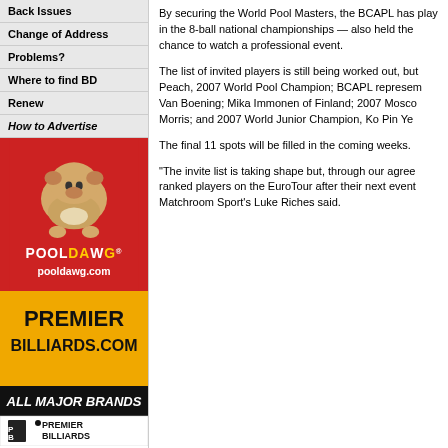Back Issues
Change of Address
Problems?
Where to find BD
Renew
How to Advertise
[Figure (illustration): PoolDawg advertisement with bulldog image on red background and pooldawg.com text]
[Figure (illustration): Premier Billiards.com advertisement with gold and black design, ALL MAJOR BRANDS text and Premier Billiards logo]
By securing the World Pool Masters, the BCAPL has play in the 8-ball national championships — also held the chance to watch a professional event.
The list of invited players is still being worked out, but Peach, 2007 World Pool Champion; BCAPL represem Van Boening; Mika Immonen of Finland; 2007 Mosco Morris; and 2007 World Junior Champion, Ko Pin Ye
The final 11 spots will be filled in the coming weeks.
"The invite list is taking shape but, through our agree ranked players on the EuroTour after their next event Matchroom Sport's Luke Riches said.